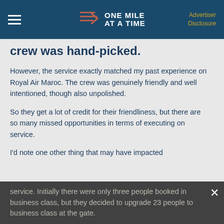ONE MILE AT A TIME | Advertiser Disclosure
crew was hand-picked.
However, the service exactly matched my past experience on Royal Air Maroc. The crew was genuinely friendly and well intentioned, though also unpolished.
So they get a lot of credit for their friendliness, but there are so many missed opportunities in terms of executing on service.
I'd note one other thing that may have impacted service. Initially there were only three people booked in business class, but they decided to upgrade 23 people to business class at the gate.